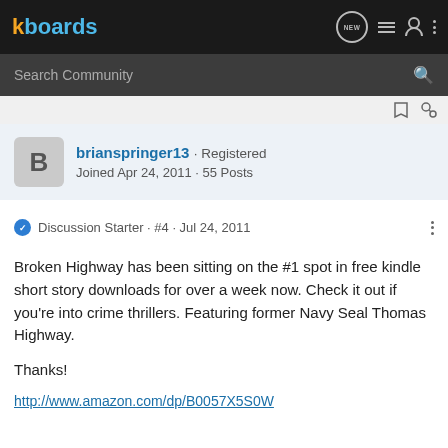kboards
Search Community
brianspringer13 · Registered
Joined Apr 24, 2011 · 55 Posts
Discussion Starter · #4 · Jul 24, 2011
Broken Highway has been sitting on the #1 spot in free kindle short story downloads for over a week now. Check it out if you're into crime thrillers. Featuring former Navy Seal Thomas Highway.

Thanks!

http://www.amazon.com/dp/B0057X5S0W